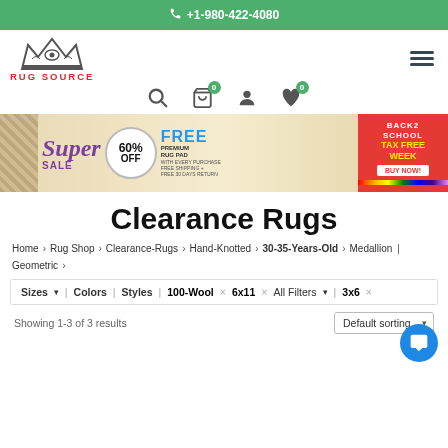+1-980-422-4080
[Figure (logo): Rug Source logo with crown and red text]
[Figure (infographic): Super Sale banner: 60% OFF, FREE Premium Rug Pad, Back2School Tax Free Week, Buy Now]
Clearance Rugs
Home > Rug Shop > Clearance-Rugs > Hand-Knotted > 30-35-Years-Old > Medallion | Geometric >
Sizes  Colors  Styles  100-Wool  6x11  All Filters  3x6
Showing 1-3 of 3 results   Default sorting